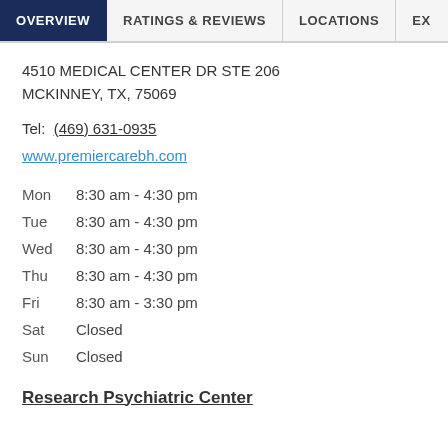OVERVIEW | RATINGS & REVIEWS | LOCATIONS | EX
4510 MEDICAL CENTER DR STE 206
MCKINNEY, TX, 75069
Tel: (469) 631-0935
www.premiercarebh.com
Mon   8:30 am - 4:30 pm
Tue   8:30 am - 4:30 pm
Wed  8:30 am - 4:30 pm
Thu   8:30 am - 4:30 pm
Fri    8:30 am - 3:30 pm
Sat   Closed
Sun   Closed
Research Psychiatric Center